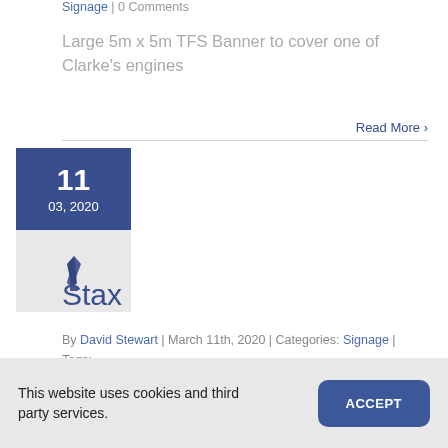Signage | 0 Comments
Large 5m x 5m TFS Banner to cover one of Clarke's engines
Read More >
[Figure (other): Date block showing 11 / 03, 2020 on blue background]
[Figure (other): Grey icon box with pen/nib icon]
Stax
By David Stewart | March 11th, 2020 | Categories: Signage | Tags: Signage | 0 Comments
This website uses cookies and third party services.